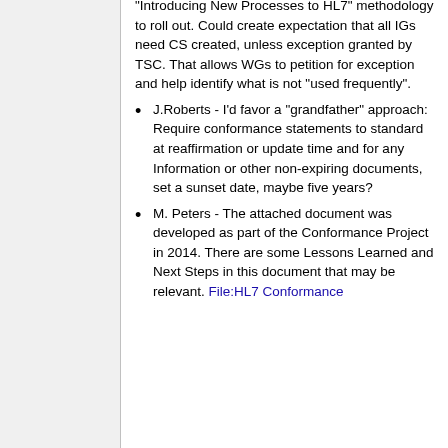"Introducing New Processes to HL7" methodology to roll out. Could create expectation that all IGs need CS created, unless exception granted by TSC. That allows WGs to petition for exception and help identify what is not "used frequently".
J.Roberts - I'd favor a "grandfather" approach: Require conformance statements to standard at reaffirmation or update time and for any Information or other non-expiring documents, set a sunset date, maybe five years?
M. Peters - The attached document was developed as part of the Conformance Project in 2014. There are some Lessons Learned and Next Steps in this document that may be relevant. File:HL7 Conformance